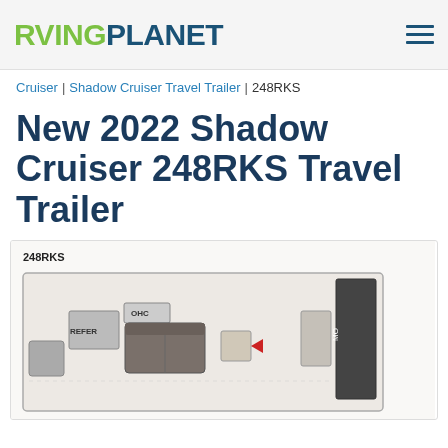RVINGPLANET
Cruiser | Shadow Cruiser Travel Trailer | 248RKS
New 2022 Shadow Cruiser 248RKS Travel Trailer
[Figure (illustration): Floor plan diagram of the Shadow Cruiser 248RKS Travel Trailer showing interior layout with REFER, OHC labels, and various furniture/appliance positions]